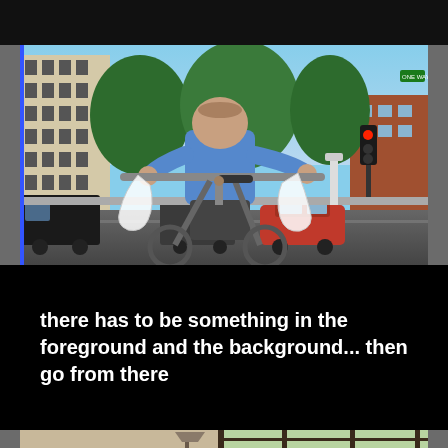[Figure (photo): A man in a blue t-shirt riding a bicycle on an urban street, carrying white plastic bags on the handlebars. Background shows city buildings, trees, parked cars, and a red traffic light. A blue vertical stripe appears on the left edge of the image.]
there has to be something in the foreground and the background... then go from there
[Figure (photo): Interior room scene showing windows with dark frames and grid pattern, letting in natural light. A floor lamp is visible in the room with beige/tan walls.]